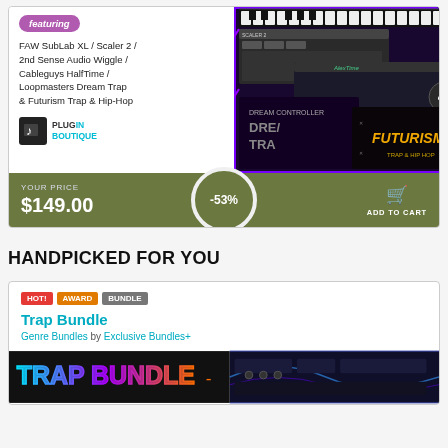[Figure (screenshot): Plugin Boutique product bundle advertisement showing FAW SubLab XL, Scaler 2, 2nd Sense Audio Wiggle, Cableguys HalfTime, Loopmasters Dream Trap & Futurism Trap & Hip-Hop with software UI screenshots on purple/dark background]
featuring
FAW SubLab XL / Scaler 2 / 2nd Sense Audio Wiggle / Cableguys HalfTime / Loopmasters Dream Trap & Futurism Trap & Hip-Hop
[Figure (logo): Plugin Boutique logo - black square with music note icon and PLUGIN BOUTIQUE text in cyan]
YOUR PRICE $149.00
-53%
ADD TO CART
HANDPICKED FOR YOU
HOT! AWARD BUNDLE
Trap Bundle
Genre Bundles by Exclusive Bundles+
[Figure (screenshot): Trap Bundle product image showing colorful text TRAP BUNDLE on gradient background with music software interface on right side]